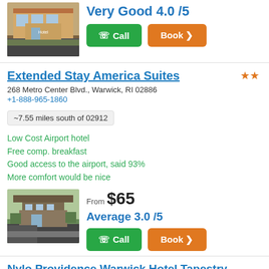[Figure (photo): Photo of a hotel exterior building (Hampton Inn style, brick/tan facade)]
Very Good 4.0 /5
Call | Book >
Extended Stay America Suites
268 Metro Center Blvd., Warwick, RI 02886
+1-888-965-1860
~7.55 miles south of 02912
Low Cost Airport hotel
Free comp. breakfast
Good access to the airport, said 93%
More comfort would be nice
[Figure (photo): Photo of Extended Stay America Suites hotel exterior with trees]
From $65
Average 3.0 /5
Call | Book >
Nylo Providence Warwick Hotel Tapestry